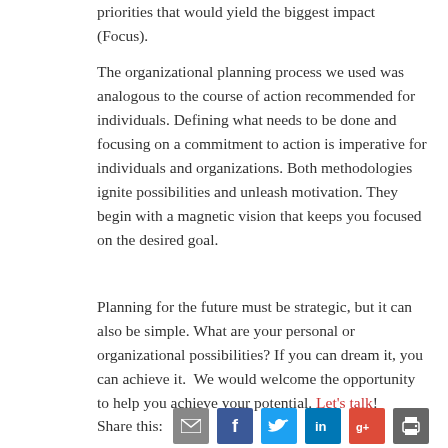priorities that would yield the biggest impact (Focus).
The organizational planning process we used was analogous to the course of action recommended for individuals. Defining what needs to be done and focusing on a commitment to action is imperative for individuals and organizations. Both methodologies ignite possibilities and unleash motivation. They begin with a magnetic vision that keeps you focused on the desired goal.
Planning for the future must be strategic, but it can also be simple. What are your personal or organizational possibilities? If you can dream it, you can achieve it.  We would welcome the opportunity to help you achieve your potential. Let's talk!
Share this: